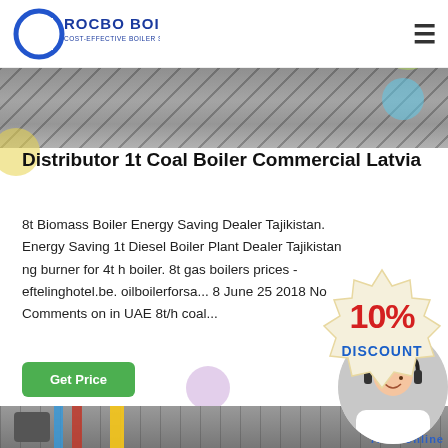[Figure (logo): Rocbo Boiler logo - circular C shape with text ROCBO BOILER and subtitle COST-EFFECTIVE BOILER SUPPLIER]
[Figure (photo): Top banner image showing industrial boiler equipment from above]
Distributor 1t Coal Boiler Commercial Latvia
8t Biomass Boiler Energy Saving Dealer Tajikistan. Energy Saving 1t Diesel Boiler Plant Dealer Tajikistan ng burner for 4t h boiler. 8t gas boilers prices - eftelinghotel.be. oilboilerforsa... 8 June 25 2018 No Comments on in UAE 8t/h coal...
[Figure (infographic): 10% DISCOUNT badge/stamp in red and blue on cream background]
[Figure (photo): Customer service representative wearing headset, circular cropped photo]
[Figure (photo): Bottom banner image showing industrial boiler room with yellow, red and blue pipes and boiler equipment]
7X24 Online